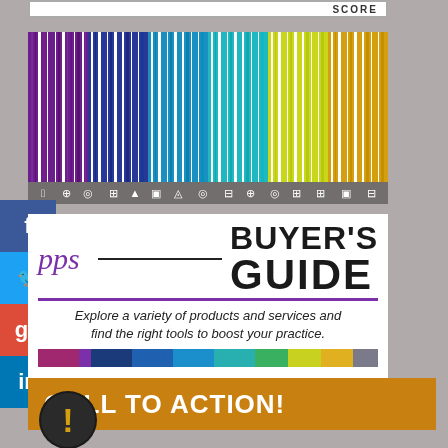[Figure (illustration): SCORE bar at top with border]
[Figure (illustration): Colorful barcode graphic with icons representing various categories, rainbow gradient from purple to gold]
[Figure (illustration): PPS Buyer's Guide logo with script 'pps' in purple, bold BUYER'S GUIDE text, tagline 'Explore a variety of products and services and find the right tools to boost your practice.' with color stripe bar]
[Figure (illustration): Social media sidebar with Facebook, Twitter, Google+, LinkedIn buttons]
CALL TO ACTION!
[Figure (illustration): Black circular warning/exclamation icon at bottom left]